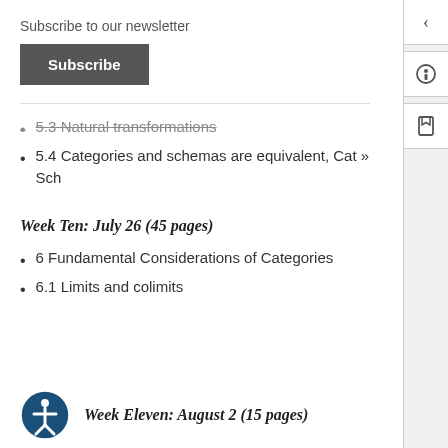Subscribe to our newsletter
Subscribe
5.3 Natural transformations
5.4 Categories and schemas are equivalent, Cat » Sch
Week Ten: July 26 (45 pages)
6 Fundamental Considerations of Categories
6.1 Limits and colimits
Week Eleven: August 2 (15 pages)